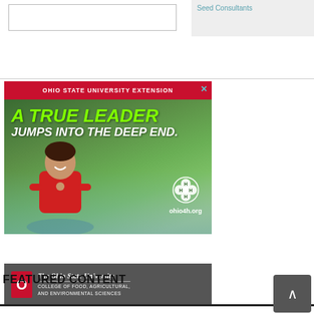[Figure (screenshot): Partial top content area with a bordered box on the left and a Seed Consultants gray box on the right]
[Figure (illustration): Ohio State University Extension advertisement banner: 'A TRUE LEADER JUMPS INTO THE DEEP END.' featuring a girl in a red life vest in water, 4-H clover logo, ohio4h.org, The Ohio State University College of Food, Agricultural, and Environmental Sciences]
FEATURED CONTENT